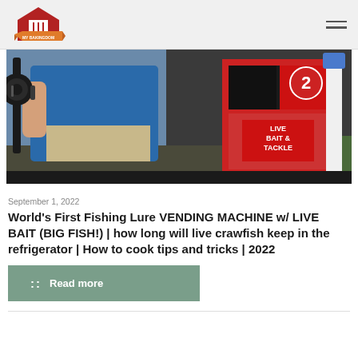MY BAKINGDOM
[Figure (photo): Person in blue shirt holding a fishing rod/reel next to a red and black Live Bait & Tackle vending machine outdoors]
September 1, 2022
World's First Fishing Lure VENDING MACHINE w/ LIVE BAIT (BIG FISH!) | how long will live crawfish keep in the refrigerator | How to cook tips and tricks | 2022
Read more